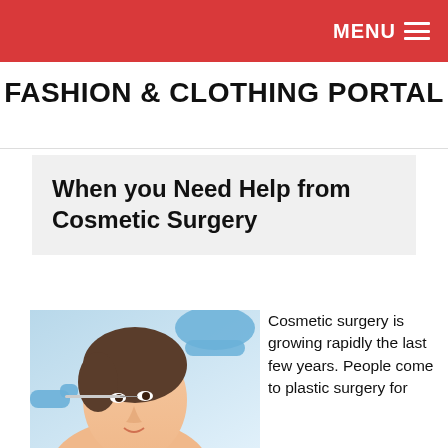MENU ☰
FASHION & CLOTHING PORTAL
When you Need Help from Cosmetic Surgery
[Figure (photo): Woman receiving a cosmetic injection near the hairline from a gloved medical professional, light blue background]
Cosmetic surgery is growing rapidly the last few years. People come to plastic surgery for